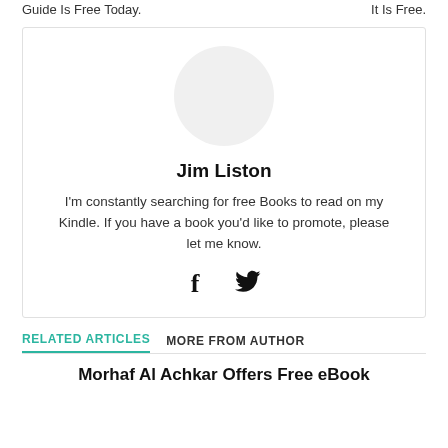Guide Is Free Today.        It Is Free.
Jim Liston
I'm constantly searching for free Books to read on my Kindle. If you have a book you'd like to promote, please let me know.
[Figure (illustration): Social media icons: Facebook (f) and Twitter (bird icon)]
RELATED ARTICLES    MORE FROM AUTHOR
Morhaf Al Achkar Offers Free eBook